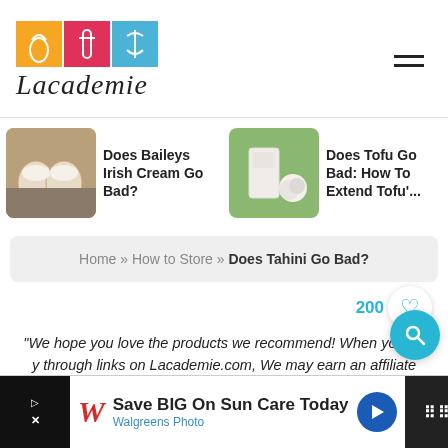[Figure (logo): Lacademie website logo with colored tiles (yellow, pink, blue) and script text 'Lacademie']
[Figure (screenshot): Navigation carousel with articles: 'Does Baileys Irish Cream Go Bad?', 'Does Tofu Go Bad: How To Extend Tofu'...', 'Does K... Go Bad']
Home » How to Store » Does Tahini Go Bad?
"We hope you love the products we recommend! When you buy through links on Lacademie.com, We may earn an affiliate commission. Learn more"
[Figure (screenshot): Walgreens Photo advertisement: Save BIG On Sun Care Today]